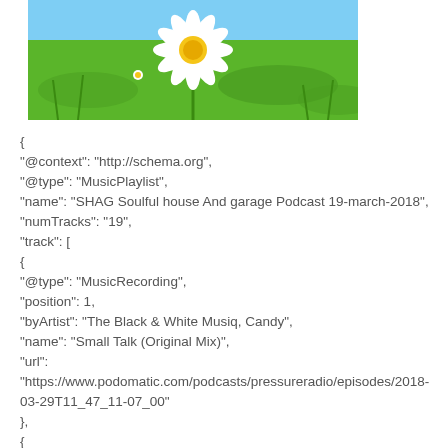[Figure (photo): Photo of a daisy flower on green grass background]
{
"@context": "http://schema.org",
"@type": "MusicPlaylist",
"name": "SHAG Soulful house And garage Podcast 19-march-2018",
"numTracks": "19",
"track": [
{
"@type": "MusicRecording",
"position": 1,
"byArtist": "The Black & White Musiq, Candy",
"name": "Small Talk (Original Mix)",
"url":
"https://www.podomatic.com/podcasts/pressureradio/episodes/2018-03-29T11_47_11-07_00"
},
{
"@type": "MusicRecording",
"position": 2,